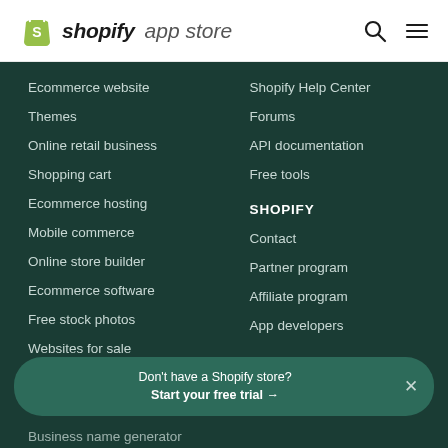[Figure (logo): Shopify App Store logo with green shopping bag icon and italic bold shopify text followed by 'app store' in regular weight]
Ecommerce website
Themes
Online retail business
Shopping cart
Ecommerce hosting
Mobile commerce
Online store builder
Ecommerce software
Free stock photos
Websites for sale
Shopify Help Center
Forums
API documentation
Free tools
SHOPIFY
Contact
Partner program
Affiliate program
App developers
Don't have a Shopify store? Start your free trial →
Business name generator